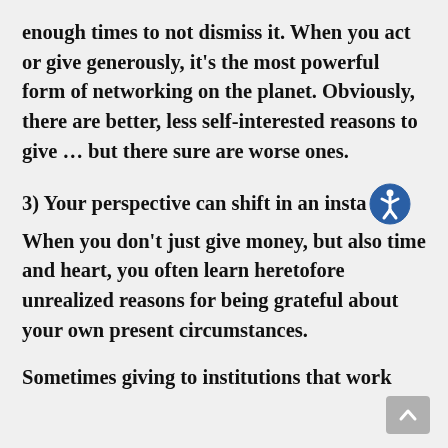enough times to not dismiss it. When you act or give generously, it's the most powerful form of networking on the planet. Obviously, there are better, less self-interested reasons to give … but there sure are worse ones.
3) Your perspective can shift in an instant. When you don't just give money, but also time and heart, you often learn heretofore unrealized reasons for being grateful about your own present circumstances.
Sometimes giving to institutions that work